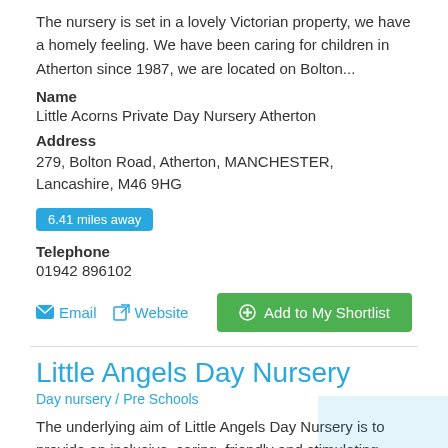The nursery is set in a lovely Victorian property, we have a homely feeling. We have been caring for children in Atherton since 1987, we are located on Bolton...
Name
Little Acorns Private Day Nursery Atherton
Address
279, Bolton Road, Atherton, MANCHESTER, Lancashire, M46 9HG
6.41 miles away
Telephone
01942 896102
Email   Website   + Add to My Shortlist
Little Angels Day Nursery
Day nursery / Pre Schools
The underlying aim of Little Angels Day Nursery is to provide an inclusive, caring, friendly and stimulating environment, catering for the needs of each individual child and family. All staff are qualified and DBS checked. All of our staff are highly experienced and have worked in the...